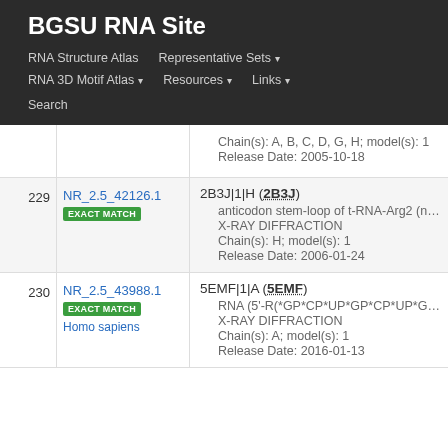BGSU RNA Site
RNA Structure Atlas
Representative Sets
RNA 3D Motif Atlas
Resources
Links
Search
| # | ID | Info |
| --- | --- | --- |
|  |  | Chain(s): A, B, C, D, G, H; model(s): 1
Release Date: 2005-10-18 |
| 229 | NR_2.5_42126.1
EXACT MATCH | 2B3J|1|H (2B3J)
anticodon stem-loop of t-RNA-Arg2 (nucle
X-RAY DIFFRACTION
Chain(s): H; model(s): 1
Release Date: 2006-01-24 |
| 230 | NR_2.5_43988.1
EXACT MATCH
Homo sapiens | 5EMF|1|A (5EMF)
RNA (5'-R(*GP*CP*UP*GP*CP*UP*GP*C
X-RAY DIFFRACTION
Chain(s): A; model(s): 1
Release Date: 2016-01-13 |